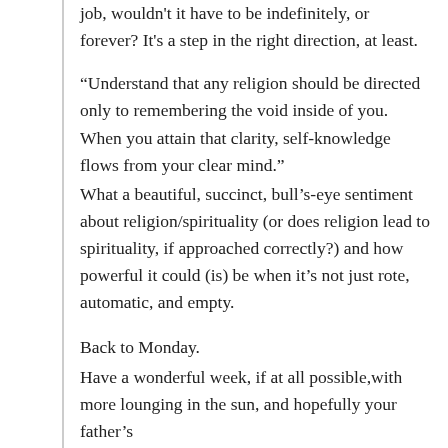job, wouldn't it have to be indefinitely, or forever? It's a step in the right direction, at least.
“Understand that any religion should be directed only to remembering the void inside of you. When you attain that clarity, self-knowledge flows from your clear mind.”
What a beautiful, succinct, bull’s-eye sentiment about religion/spirituality (or does religion lead to spirituality, if approached correctly?) and how powerful it could (is) be when it’s not just rote, automatic, and empty.
Back to Monday.
Have a wonderful week, if at all possible,with more lounging in the sun, and hopefully your father’s